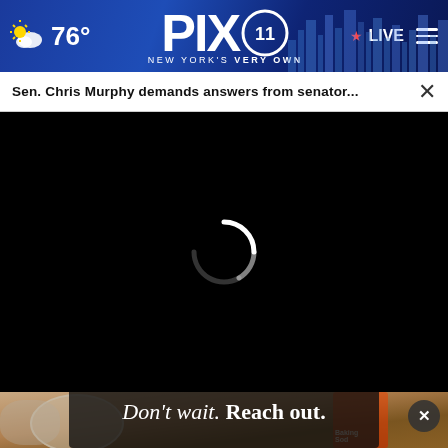PIX11 New York's Very Own — 76° — LIVE
Sen. Chris Murphy demands answers from senator...
[Figure (screenshot): Black video player area with loading spinner (white arc) in center]
[Figure (photo): Background photo showing baking soda container and kitchen items; overlay ad banner reading Don't wait. Reach out.]